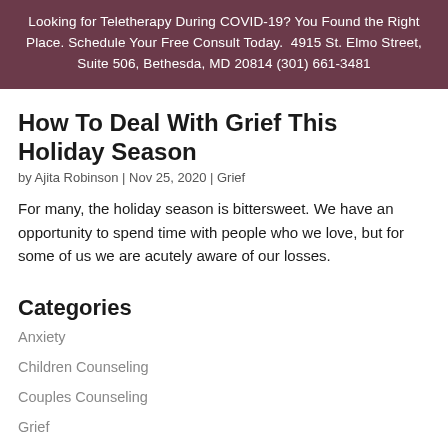Looking for Teletherapy During COVID-19? You Found the Right Place. Schedule Your Free Consult Today.  4915 St. Elmo Street, Suite 506, Bethesda, MD 20814 (301) 661-3481
How To Deal With Grief This Holiday Season
by Ajita Robinson | Nov 25, 2020 | Grief
For many, the holiday season is bittersweet. We have an opportunity to spend time with people who we love, but for some of us we are acutely aware of our losses.
Categories
Anxiety
Children Counseling
Couples Counseling
Grief
Kids in Transition